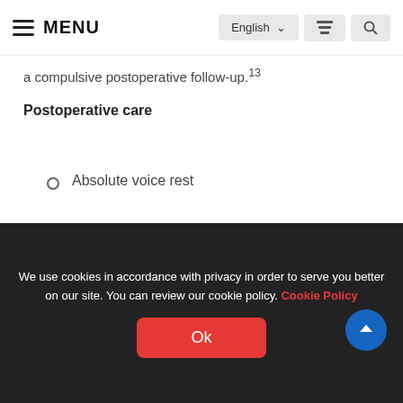MENU | English | [icon] | [search]
a compulsive postoperative follow-up.[13]
Postoperative care
Absolute voice rest
Coughing and clearing of throat, singing and ...
We use cookies in accordance with privacy in order to serve you better on our site. You can review our cookie policy. Cookie Policy
Ok